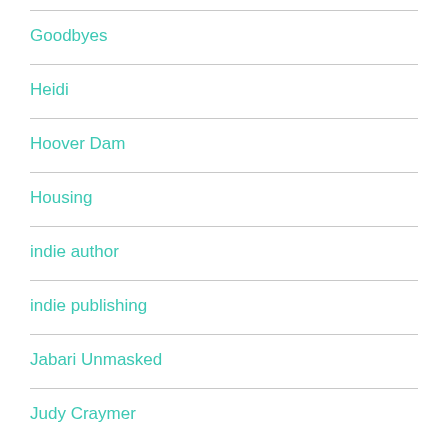Goodbyes
Heidi
Hoover Dam
Housing
indie author
indie publishing
Jabari Unmasked
Judy Craymer